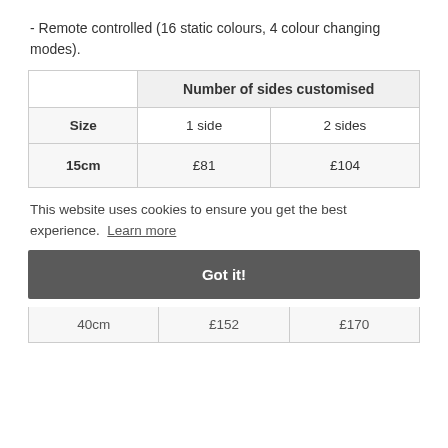- Remote controlled (16 static colours, 4 colour changing modes).
|  | Number of sides customised |  |
| --- | --- | --- |
| Size | 1 side | 2 sides |
| 15cm | £81 | £104 |
| 40cm | £152 | £170 |
This website uses cookies to ensure you get the best experience.  Learn more
Got it!
40cm   £152   £170